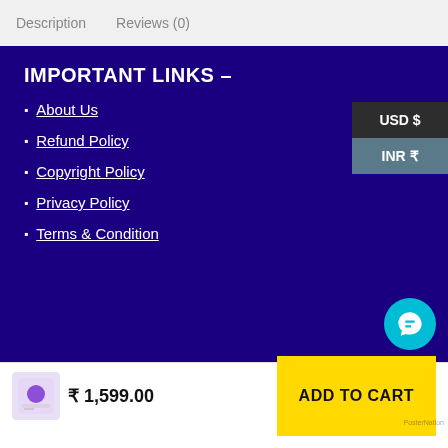Description   Reviews (0)
IMPORTANT LINKS –
About Us
Refund Policy
Copyright Policy
Privacy Policy
Terms & Condition
USD $
INR ₹
₹ 1,599.00
ADD TO CART